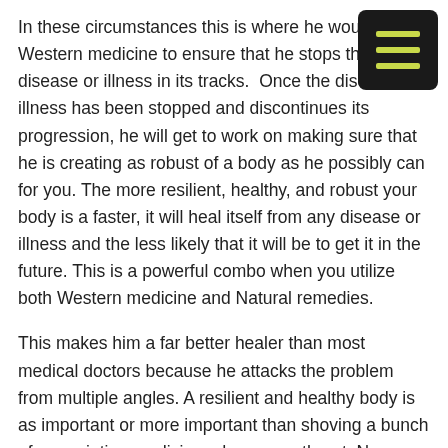In these circumstances this is where he would utilize Western medicine to ensure that he stops that disease or illness in its tracks.  Once the disease or illness has been stopped and discontinues its progression, he will get to work on making sure that he is creating as robust of a body as he possibly can for you. The more resilient, healthy, and robust your body is a faster, it will heal itself from any disease or illness and the less likely that it will be to get it in the future. This is a powerful combo when you utilize both Western medicine and Natural remedies.
This makes him a far better healer than most medical doctors because he attacks the problem from multiple angles. A resilient and healthy body is as important or more important than shoving a bunch of prescription medicines down your throat. Now again as mentioned sometimes prescription medicines are indicated, however, getting the body as healthy as possible